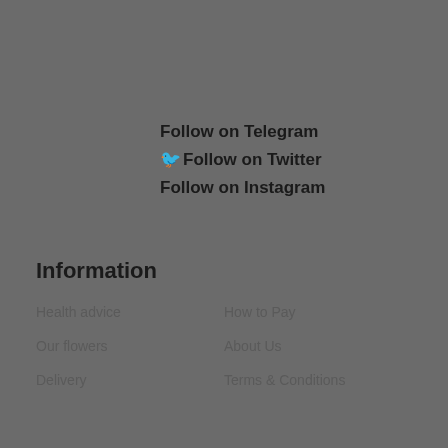Follow on Telegram
Follow on Twitter
Follow on Instagram
Information
Health advice
How to Pay
Our flowers
About Us
Delivery
Terms & Conditions